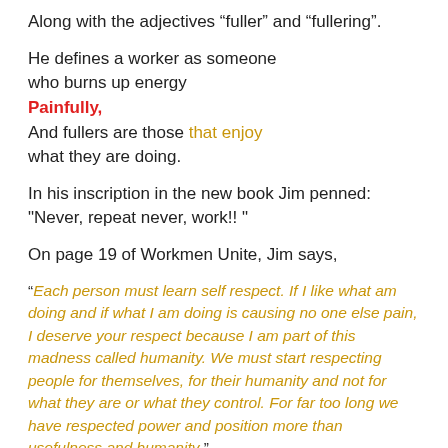Along with the adjectives “fuller” and “fullering”.
He defines a worker as someone who burns up energy Painfully, And fullers are those that enjoy what they are doing.
In his inscription in the new book Jim penned: "Never, repeat never, work!! "
On page 19 of Workmen Unite, Jim says,
“Each person must learn self respect. If I like what am doing and if what I am doing is causing no one else pain, I deserve your respect because I am part of this madness called humanity. We must start respecting people for themselves, for their humanity and not for what they are or what they control. For far too long we have respected power and position more than usefulness and humanity”.
I...